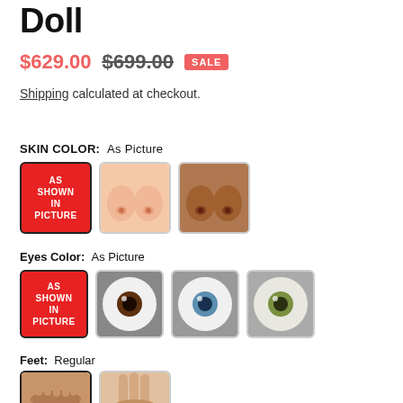Doll
$629.00  $699.00  SALE
Shipping calculated at checkout.
SKIN COLOR:  As Picture
[Figure (photo): Skin color options: As Shown In Picture (red tile), light skin tone, medium-dark skin tone]
Eyes Color:  As Picture
[Figure (photo): Eye color options: As Shown In Picture (red tile), brown eye, blue/green eye, green/hazel eye]
Feet:  Regular
[Figure (photo): Feet options: regular (selected), standing]